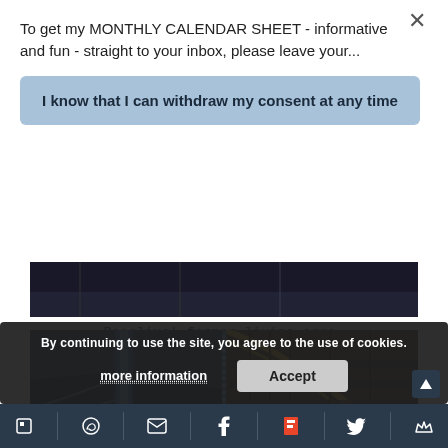To get my MONTHLY CALENDAR SHEET - informative and fun - straight to your inbox, please leave your...
I know that I can withdraw my consent at any time
[Figure (photo): Partial view of a dark interior room - the bottom portion of the image visible]
Roselius' former living area.
[Figure (photo): Aerial/top-down view of a spiral staircase with blue lighting and curved architectural elements]
By continuing to use the site, you agree to the use of cookies.
more information
Accept